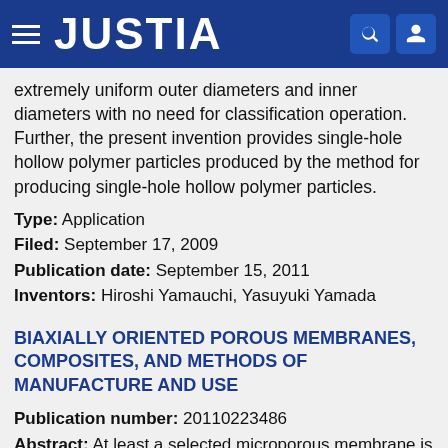JUSTIA
extremely uniform outer diameters and inner diameters with no need for classification operation. Further, the present invention provides single-hole hollow polymer particles produced by the method for producing single-hole hollow polymer particles.
Type: Application
Filed: September 17, 2009
Publication date: September 15, 2011
Inventors: Hiroshi Yamauchi, Yasuyuki Yamada
BIAXIALLY ORIENTED POROUS MEMBRANES, COMPOSITES, AND METHODS OF MANUFACTURE AND USE
Publication number: 20110223486
Abstract: At least a selected microporous membrane is made by a dry-stretch process and has substantially round shaped pores and a ratio of machine direction